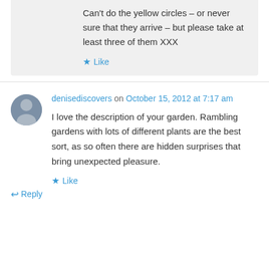Can't do the yellow circles – or never sure that they arrive – but please take at least three of them XXX
Like
denisediscovers on October 15, 2012 at 7:17 am
I love the description of your garden. Rambling gardens with lots of different plants are the best sort, as so often there are hidden surprises that bring unexpected pleasure.
Like
Reply